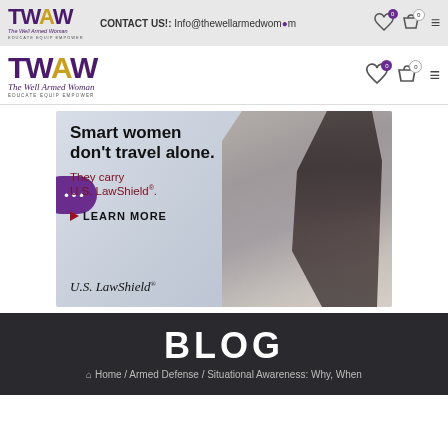CONTACT US!: Info@thewellarmedwoman.com
[Figure (logo): The Well Armed Woman TWAW logo with tagline EDUCATE EQUIP EMPOWER (two instances - header top and main nav)]
[Figure (photo): U.S. LawShield advertisement banner: Smart women don't travel alone. They carry U.S. LawShield. LEARN MORE. Woman with long dark hair in gray tank top posing outdoors.]
BLOG
Home / Armed Defense / Situational Awareness: Why, When